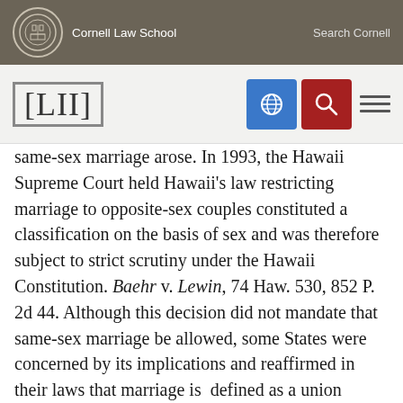Cornell Law School   Search Cornell
[Figure (logo): LII Legal Information Institute logo with Cornell Law School navigation bar]
same-sex marriage arose. In 1993, the Hawaii Supreme Court held Hawaii's law restricting marriage to opposite-sex couples constituted a classification on the basis of sex and was therefore subject to strict scrutiny under the Hawaii Constitution. Baehr v. Lewin, 74 Haw. 530, 852 P. 2d 44. Although this decision did not mandate that same-sex marriage be allowed, some States were concerned by its implications and reaffirmed in their laws that marriage is defined as a union between opposite-sex partners. So too in 1996, Congress passed the Defense of Marriage Act (DOMA), 110 Stat. 2419, defining marriage for all federal-law purposes as "only a legal union between one man and one woman as husband and